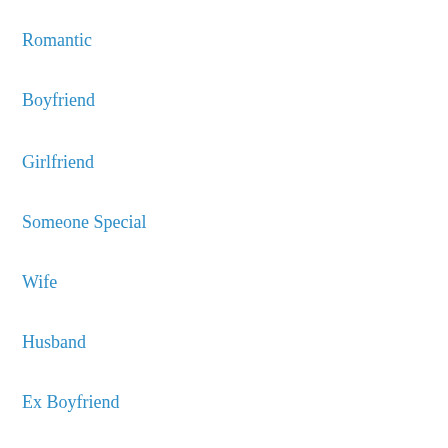Romantic
Boyfriend
Girlfriend
Someone Special
Wife
Husband
Ex Boyfriend